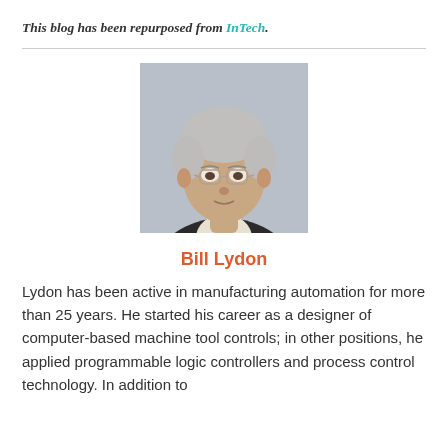This blog has been repurposed from InTech.
[Figure (photo): Headshot photo of Bill Lydon, an older man with gray hair and glasses, wearing a dark jacket.]
Bill Lydon
Lydon has been active in manufacturing automation for more than 25 years. He started his career as a designer of computer-based machine tool controls; in other positions, he applied programmable logic controllers and process control technology. In addition to